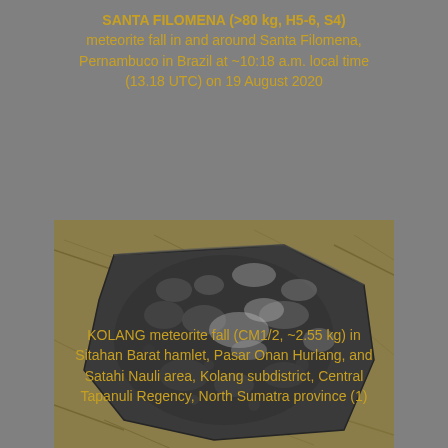SANTA FILOMENA (>80 kg, H5-6, S4) meteorite fall in and around Santa Filomena, Pernambuco in Brazil at ~10:18 a.m. local time (13.18 UTC) on 19 August 2020
[Figure (photo): Photograph of the Santa Filomena meteorite, a large dark grey/black chondritic rock with regmaglypts (thumbprint-like depressions) and fusion crust, resting on dry grass/hay]
KOLANG meteorite fall (CM1/2, ~2.55 kg) in Sitahan Barat hamlet, Pasar Onan Hurlang, and Satahi Nauli area, Kolang subdistrict, Central Tapanuli Regency, North Sumatra province (1)